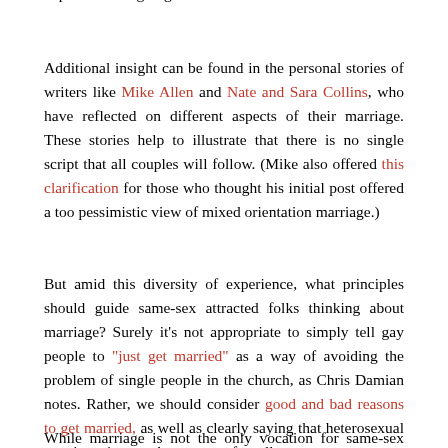experiences ongoing same-sex attractions?"
Additional insight can be found in the personal stories of writers like Mike Allen and Nate and Sara Collins, who have reflected on different aspects of their marriage. These stories help to illustrate that there is no single script that all couples will follow. (Mike also offered this clarification for those who thought his initial post offered a too pessimistic view of mixed orientation marriage.)
But amid this diversity of experience, what principles should guide same-sex attracted folks thinking about marriage? Surely it's not appropriate to simply tell gay people to "just get married" as a way of avoiding the problem of single people in the church, as Chris Damian notes. Rather, we should consider good and bad reasons to get married, as well as clearly saying that heterosexual marriage is not the answer for all, or even most gay people. Finally, Kyle again offers his thoughts on the types of attraction needed for a healthy marriage.
While marriage is not the only vocation for same-sex attracted